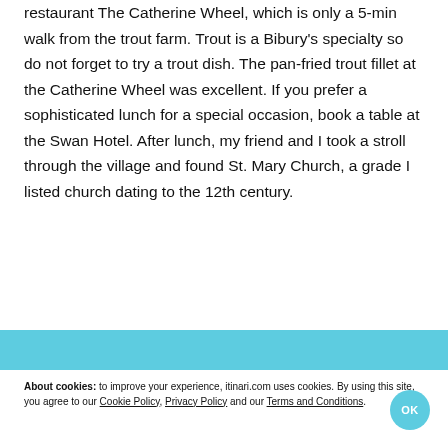restaurant The Catherine Wheel, which is only a 5-min walk from the trout farm. Trout is a Bibury's specialty so do not forget to try a trout dish. The pan-fried trout fillet at the Catherine Wheel was excellent. If you prefer a sophisticated lunch for a special occasion, book a table at the Swan Hotel. After lunch, my friend and I took a stroll through the village and found St. Mary Church, a grade I listed church dating to the 12th century.
About cookies: to improve your experience, itinari.com uses cookies. By using this site, you agree to our Cookie Policy, Privacy Policy and our Terms and Conditions.